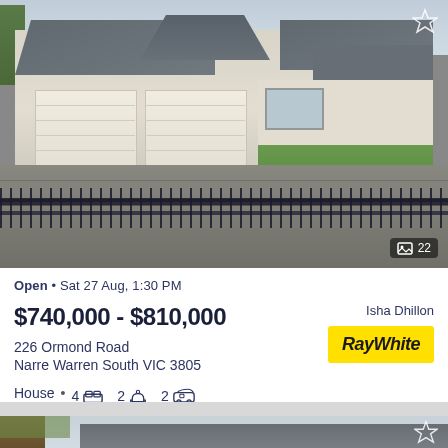[Figure (photo): Aerial/elevated view of a single-story brick house with double garage, iron fence/gate, concrete driveway, and lawn in Narre Warren South]
Open • Sat 27 Aug, 1:30 PM
$740,000 - $810,000
226 Ormond Road
Narre Warren South VIC 3805
House • 4 🛏 2 🛁 2 🚗
Isha Dhillon
[Figure (logo): RayWhite real estate agency logo — bold italic text on yellow background]
[Figure (photo): Partial view of a second property listing — roofline of a house visible, tree on left, overcast sky]